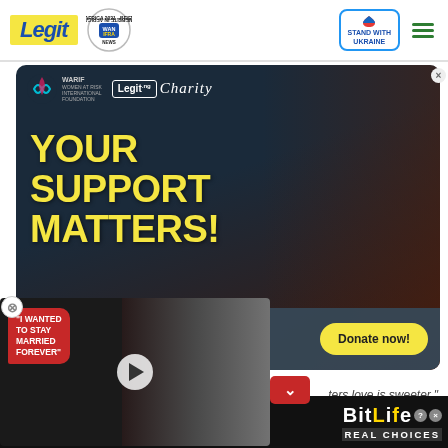Legit — Best News Website in Africa 2021 (WAN-IFRA) | Stand With Ukraine
[Figure (advertisement): Legit.ng Charity and WARIF advertisement with text YOUR SUPPORT MATTERS!, SAVE THE LIFE, and Donate now! button]
[Figure (screenshot): Video overlay with quote 'I WANTED TO STAY MARRIED FOREVER' showing a couple]
ters love is sweeter."
[Figure (advertisement): BitLife REAL CHOICES advertisement with emoji decorations]